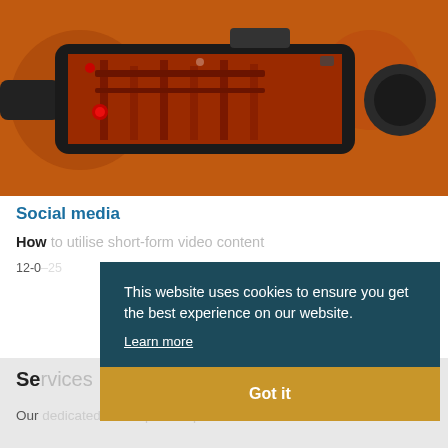[Figure (photo): A smartphone mounted on a gimbal/stabilizer, with an orange-red background and a torii gate scene visible on the phone screen.]
Social media
How to utilise short-form video content
12-0[date partially obscured]
This website uses cookies to ensure you get the best experience on our website.
Learn more
Got it
Services
Our dedicated teams provide passion and [text continues]